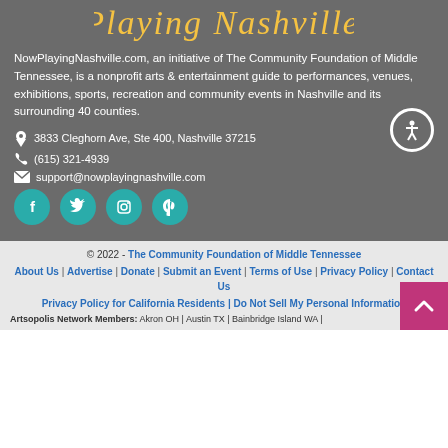[Figure (logo): NowPlayingNashville.com stylized script logo in yellow/gold on gray background]
NowPlayingNashville.com, an initiative of The Community Foundation of Middle Tennessee, is a nonprofit arts & entertainment guide to performances, venues, exhibitions, sports, recreation and community events in Nashville and its surrounding 40 counties.
3833 Cleghorn Ave, Ste 400, Nashville 37215
(615) 321-4939
support@nowplayingnashville.com
[Figure (infographic): Social media icons: Facebook, Twitter, Instagram, Pinterest in teal circles]
© 2022 - The Community Foundation of Middle Tennessee
About Us | Advertise | Donate | Submit an Event | Terms of Use | Privacy Policy | Contact Us
Privacy Policy for California Residents | Do Not Sell My Personal Information
Artsopolis Network Members: Akron OH | Austin TX | Bainbridge Island WA |